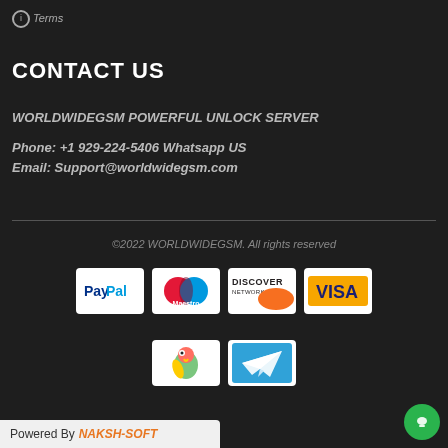ℹ Terms
CONTACT US
WORLDWIDEGSM POWERFUL UNLOCK SERVER
Phone: +1 929-224-5406 Whatsapp US
Email: Support@worldwidegsm.com
©2022 WORLDWIDEGSM. All rights reserved
[Figure (infographic): Payment method logos: PayPal, Maestro, Discover Network, Visa, a parrot icon, and Telegram icon]
Powered By NAKSH-SOFT